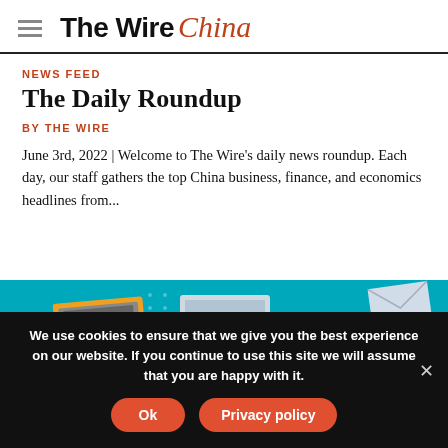The Wire China
NEWS FEED
The Daily Roundup
BY THE WIRE
June 3rd, 2022 | Welcome to The Wire's daily news roundup. Each day, our staff gathers the top China business, finance, and economics headlines from...
[Figure (illustration): Colorful isometric illustration of digital devices including laptops and mobile phones on a teal background]
We use cookies to ensure that we give you the best experience on our website. If you continue to use this site we will assume that you are happy with it.